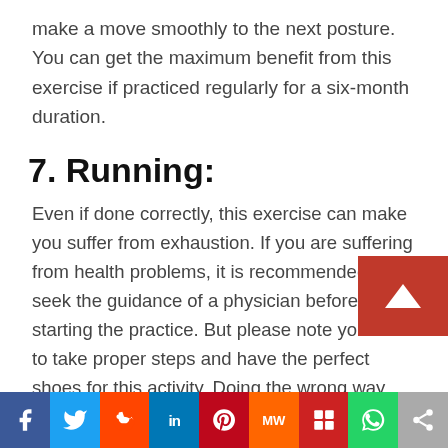make a move smoothly to the next posture. You can get the maximum benefit from this exercise if practiced regularly for a six-month duration.
7. Running:
Even if done correctly, this exercise can make you suffer from exhaustion. If you are suffering from health problems, it is recommended to seek the guidance of a physician before starting the practice. But please note you need to take proper steps and have the perfect shoes for this activity. Doing the wrong way can make you suffer from leg cramps.
Some benefits of running are better brain performance, happy moods, good sleep and prevention of